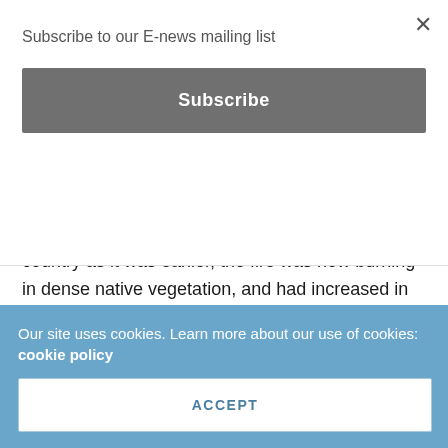Subscribe to our E-news mailing list
Subscribe
Fortunately, by this time, the town had been evacuated. Rather than burning in open farming country as it was earlier, the fire was now burning in dense native vegetation, and had increased in size and intensity tremendously. The efforts of the front-line air attack aircraft, combined with firefighting personnel on the ground, meant that the township was spared the worst of the
Our site uses cookies. Learn more about our use of cookies: cookie policy
ACCEPT